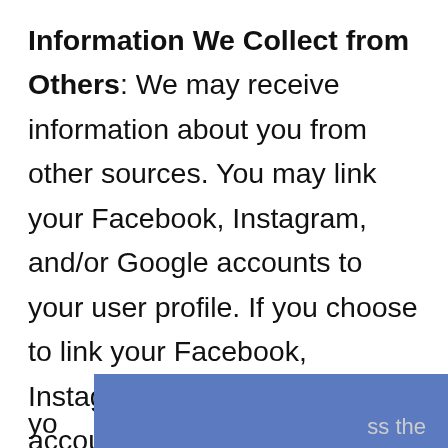Information We Collect from Others: We may receive information about you from other sources. You may link your Facebook, Instagram, and/or Google accounts to your user profile. If you choose to link your Facebook, Instagram, and/or Google accounts to your user profile, we will receive your name, email address and profile picture associated with that account.
Automatically-Collected Information
automatically collect certain information about you... ss the